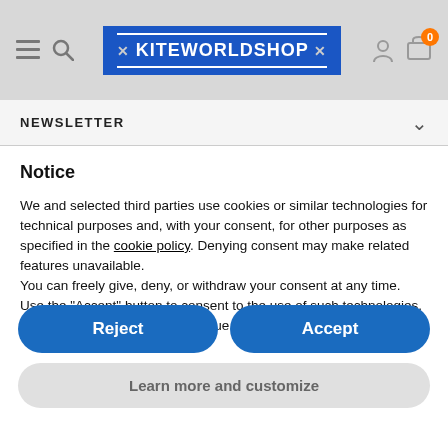[Figure (logo): KiteWorldShop logo — white text on blue background with decorative X marks and double horizontal rules]
NEWSLETTER
Notice
We and selected third parties use cookies or similar technologies for technical purposes and, with your consent, for other purposes as specified in the cookie policy. Denying consent may make related features unavailable.
You can freely give, deny, or withdraw your consent at any time. Use the "Accept" button to consent to the use of such technologies. Use the "Reject" button to continue without accepting.
Reject
Accept
Learn more and customize